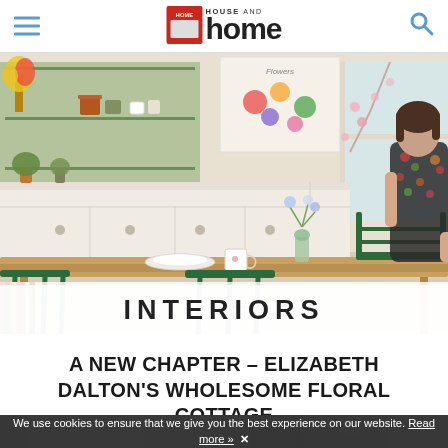HOUSE AND home
[Figure (photo): Kitchen scene with woman in floral dress standing behind a wooden dining table with green chairs, shelves with plants and ceramics in background, with overlay text 'INTERIORS']
A NEW CHAPTER – ELIZABETH DALTON'S WHOLESOME FLORAL COTTAGE
[Figure (photo): Partial view of another interior image at bottom of page]
We use cookies to ensure that we give you the best experience on our website. Read more »  ✕